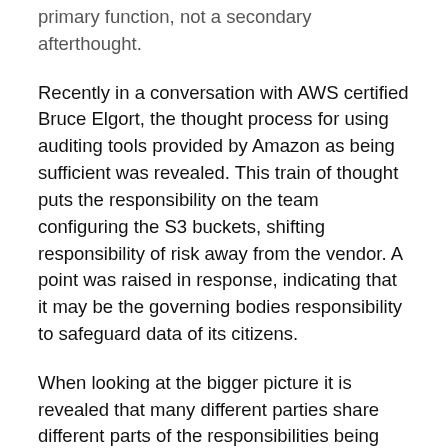primary function, not a secondary afterthought.
Recently in a conversation with AWS certified Bruce Elgort, the thought process for using auditing tools provided by Amazon as being sufficient was revealed. This train of thought puts the responsibility on the team configuring the S3 buckets, shifting responsibility of risk away from the vendor. A point was raised in response, indicating that it may be the governing bodies responsibility to safeguard data of its citizens.
When looking at the bigger picture it is revealed that many different parties share different parts of the responsibilities being discussed here. In cybersecurity it is well known that compliance drives spending for regulatory controls, however; compliance and security are not necessarily a tandem achieved when either one is carried out. Ultimately, the sector of business dictates